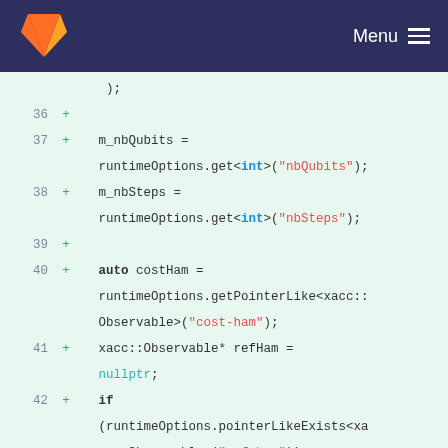GitLab — Menu
[Figure (screenshot): GitLab diff view showing lines 36-46 of a C++ source file with added lines marked with + signs]
36 +
37 +   m_nbQubits = runtimeOptions.get<int>("nbQubits");
38 +   m_nbSteps = runtimeOptions.get<int>("nbSteps");
39 +
40 +   auto costHam = runtimeOptions.getPointerLike<xacc::Observable>("cost-ham");
41 +   xacc::Observable* refHam = nullptr;
42 +   if (runtimeOptions.pointerLikeExists<xacc::Observable>("ref-ham"))
43 +   {
44 +      refHam = runtimeOptions.getPointerLike<xacc::Observable>("ref-ham");
45 +   }
46 +